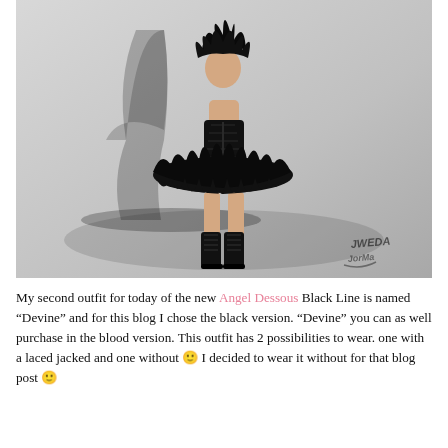[Figure (illustration): A 3D rendered avatar of a female figure wearing a black feathered tutu skirt, black corset, black lace-up boots, and black feathered accessories in her hair. The figure casts a dramatic shadow on a light gray background. A stylized watermark logo appears in the bottom right corner.]
My second outfit for today of the new Angel Dessous Black Line is named “Devine” and for this blog I chose the black version. “Devine” you can as well purchase in the blood version. This outfit has 2 possibilities to wear. one with a laced jacked and one without 🙂 I decided to wear it without for that blog post 🙂